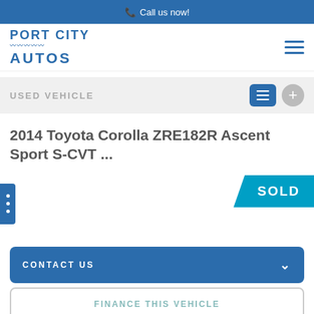Call us now!
[Figure (logo): Port City Autos logo with wave lines]
USED VEHICLE
2014 Toyota Corolla ZRE182R Ascent Sport S-CVT ...
[Figure (other): SOLD banner overlay on vehicle image area with side navigation tab]
CONTACT US
FINANCE THIS VEHICLE